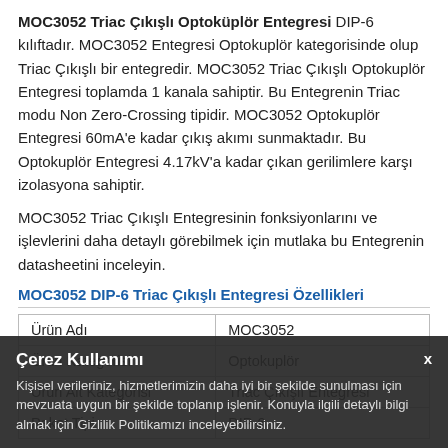MOC3052 Triac Çıkışlı Optoküplör Entegresi DIP-6 kılıftadır. MOC3052 Entegresi Optokuplör kategorisinde olup Triac Çıkışlı bir entegredir. MOC3052 Triac Çıkışlı Optokuplör Entegresi toplamda 1 kanala sahiptir. Bu Entegrenin Triac modu Non Zero-Crossing tipidir. MOC3052 Optokuplör Entegresi 60mA'e kadar çıkış akımı sunmaktadır. Bu Optokuplör Entegresi 4.17kV'a kadar çıkan gerilimlere karşı izolasyona sahiptir.
MOC3052 Triac Çıkışlı Entegresinin fonksiyonlarını ve işlevlerini daha detaylı görebilmek için mutlaka bu Entegrenin datasheetini inceleyin.
MOC3052 DIP-6 Triac Çıkışlı Entegresi Özellikleri
| Ürün Adı | MOC3052 |
| Ürün Kategorisi | Optokuplör |
| Ürün Alt Kategorisi | Triac Çıkışlı Entegresi |
| Paket Tipi | DIP-6 |
Çerez Kullanımı — Kişisel verileriniz, hizmetlerimizin daha iyi bir şekilde sunulması için mevzuata uygun bir şekilde toplanıp işlenir. Konuyla ilgili detaylı bilgi almak için Gizlilik Politikamızı inceleyebilirsiniz.